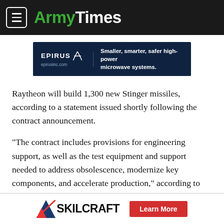ArmyTimes
[Figure (infographic): Epirus advertisement banner: dark navy background with EPIRUS logo and tagline 'Smaller, smarter, safer high-power microwave systems.' epirusinc.com]
Raytheon will build 1,300 new Stinger missiles, according to a statement issued shortly following the contract announcement.
“The contract includes provisions for engineering support, as well as the test equipment and support needed to address obsolescence, modernize key components, and accelerate production,” according to the company statement.
[Figure (infographic): Skilcraft advertisement banner with logo and 'Learn More' red button]